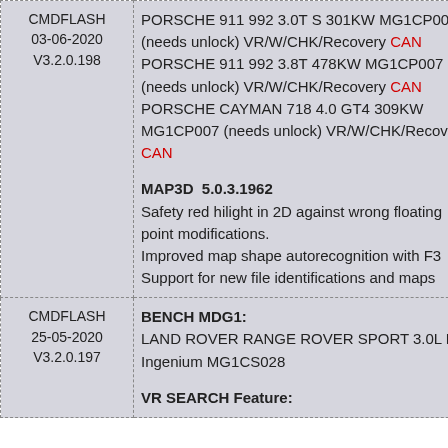| Version | Details |
| --- | --- |
| CMDFLASH
03-06-2020
V3.2.0.198 | PORSCHE 911 992 3.0T S 301KW MG1CP007 (needs unlock) VR/W/CHK/Recovery CAN
PORSCHE 911 992 3.8T 478KW MG1CP007 (needs unlock) VR/W/CHK/Recovery CAN
PORSCHE CAYMAN 718 4.0 GT4 309KW MG1CP007 (needs unlock) VR/W/CHK/Recovery CAN
MAP3D 5.0.3.1962
Safety red hilight in 2D against wrong floating point modifications.
Improved map shape autorecognition with F3
Support for new file identifications and maps |
| CMDFLASH
25-05-2020
V3.2.0.197 | BENCH MDG1:
LAND ROVER RANGE ROVER SPORT 3.0L P6 Ingenium MG1CS028
VR SEARCH Feature: |